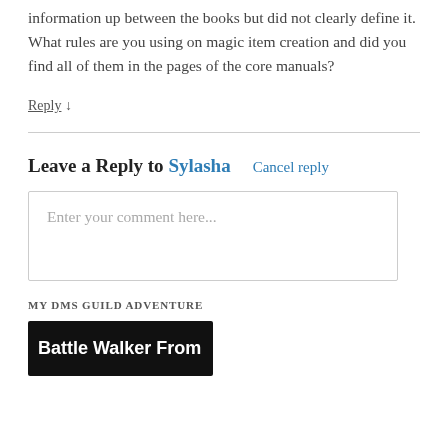information up between the books but did not clearly define it. What rules are you using on magic item creation and did you find all of them in the pages of the core manuals?
Reply ↓
Leave a Reply to Sylasha   Cancel reply
Enter your comment here...
MY DMS GUILD ADVENTURE
[Figure (illustration): Black banner image with white bold text reading 'Battle Walker From']